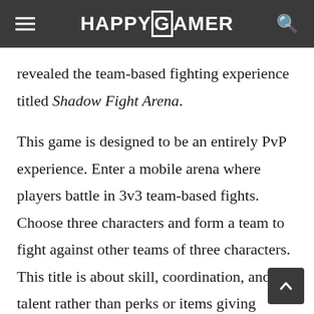HAPPYGAMER
revealed the team-based fighting experience titled Shadow Fight Arena.
This game is designed to be an entirely PvP experience. Enter a mobile arena where players battle in 3v3 team-based fights. Choose three characters and form a team to fight against other teams of three characters. This title is about skill, coordination, and talent rather than perks or items giving players any advantages.